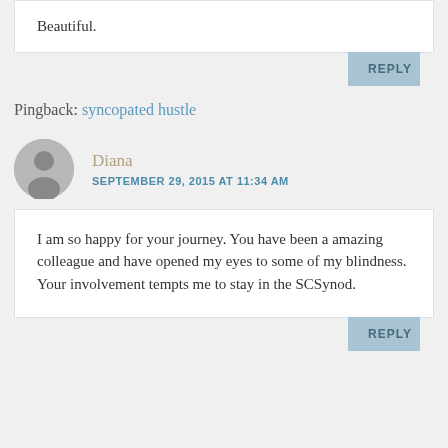Beautiful.
REPLY
Pingback: syncopated hustle
Diana
SEPTEMBER 29, 2015 AT 11:34 AM
I am so happy for your journey. You have been a amazing colleague and have opened my eyes to some of my blindness. Your involvement tempts me to stay in the SCSynod.
REPLY